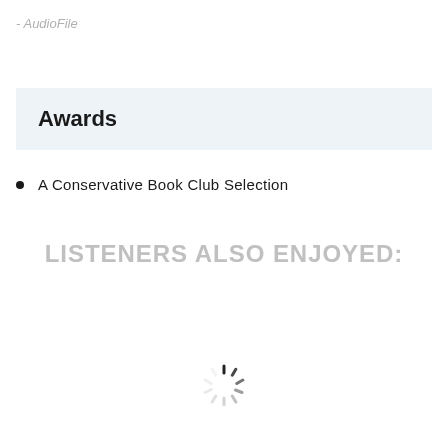- AudioFile
Awards
A Conservative Book Club Selection
LISTENERS ALSO ENJOYED:
[Figure (other): Loading spinner icon — circular spinner with radial dashes in dark gray/black gradient, indicating content is loading]